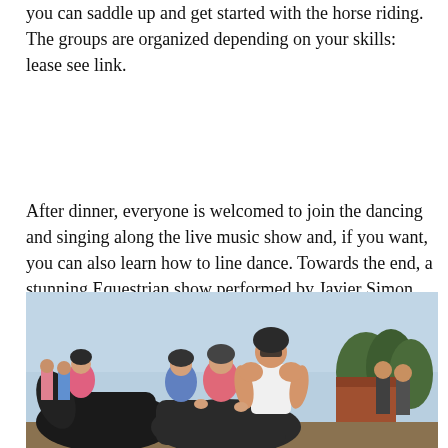you can saddle up and get started with the horse riding. The groups are organized depending on your skills: lease see link.
After dinner, everyone is welcomed to join the dancing and singing along the live music show and, if you want, you can also learn how to line dance. Towards the end, a stunning Equestrian show performed by Javier Simon and his team will be the final touch to an incredible evening.
[Figure (photo): Outdoor photo of people on horseback wearing helmets, a muscular man in a white tank top and sunglasses prominent in the center, with trees and a brick building in the background under a clear sky.]